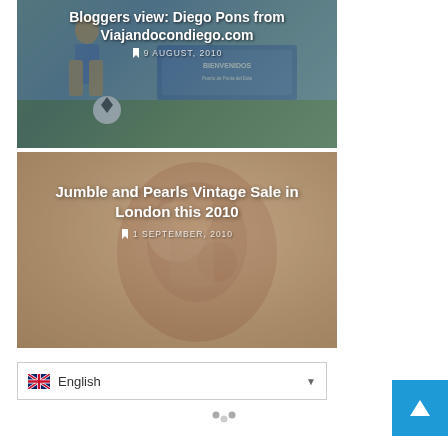[Figure (photo): Blog post card with photo background of a person with a soccer ball and a 'Bienvenidos Puerto de Punta del Este' sign. Title: Bloggers view: Diego Pons from Viajandocondiego.com. Date: 9 August, 2010.]
[Figure (photo): Blog post card with vintage/textured photo background. Title: Jumble and Pearls Vintage Sale in London this 2010. Date: 1 September, 2010.]
English